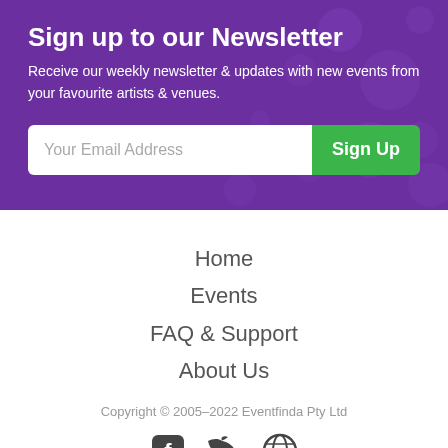Sign up to our Newsletter
Receive our weekly newsletter & updates with new events from your favourite artists & venues.
Your Email Address | Sign Up
Home
Events
FAQ & Support
About Us
Copyright © 2005–2022 Eventfinda Pty Ltd
[Figure (illustration): Social media icons: Facebook, Twitter, and a globe/web icon]